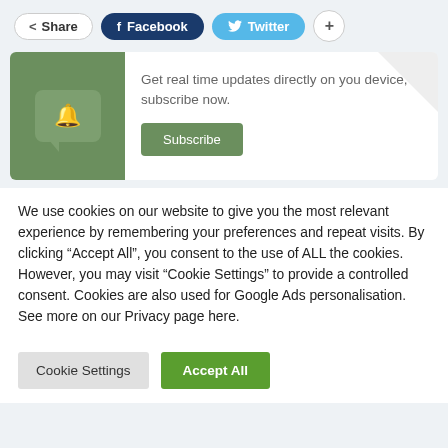[Figure (screenshot): Social share bar with Share, Facebook, Twitter, and + buttons]
[Figure (infographic): Subscribe widget with green background, bell icon in chat bubble, text 'Get real time updates directly on you device, subscribe now.' and a Subscribe button]
We use cookies on our website to give you the most relevant experience by remembering your preferences and repeat visits. By clicking "Accept All", you consent to the use of ALL the cookies. However, you may visit "Cookie Settings" to provide a controlled consent. Cookies are also used for Google Ads personalisation. See more on our Privacy page here.
[Figure (screenshot): Cookie Settings and Accept All buttons]